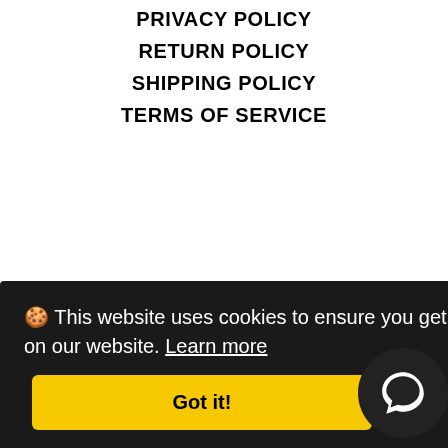PRIVACY POLICY
RETURN POLICY
SHIPPING POLICY
TERMS OF SERVICE
Facebook
Twitter
Pinterest
Instagram
© 2022, Tik Shoppers
🍪 This website uses cookies to ensure you get the best experience on our website. Learn more
Got it!